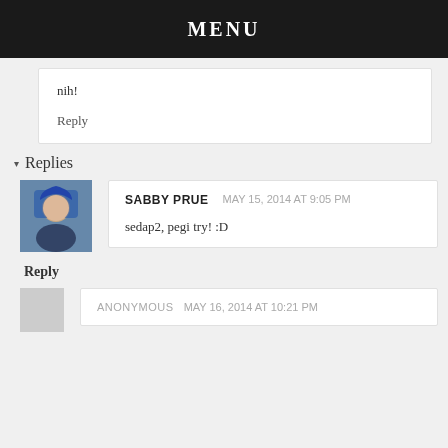MENU
nih!
Reply
▾ Replies
SABBY PRUE   MAY 15, 2014 AT 9:05 PM
sedap2, pegi try! :D
Reply
ANONYMOUS  MAY 16, 2014 AT 10:21 PM